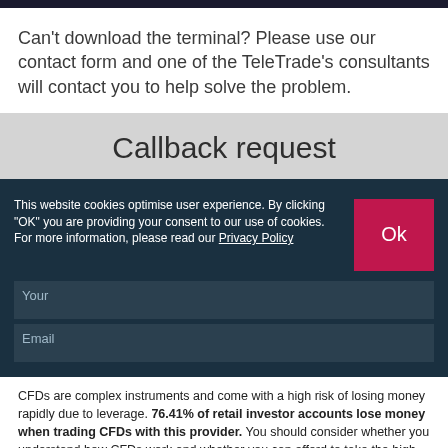Can't download the terminal? Please use our contact form and one of the TeleTrade's consultants will contact you to help solve the problem.
Callback request
This website cookies optimise user experience. By clicking "OK" you are providing your consent to our use of cookies. For more information, please read our Privacy Policy
Your
Email
CFDs are complex instruments and come with a high risk of losing money rapidly due to leverage. 76.41% of retail investor accounts lose money when trading CFDs with this provider. You should consider whether you understand how CFDs work and whether you can afford to take the high risk of losing your money.